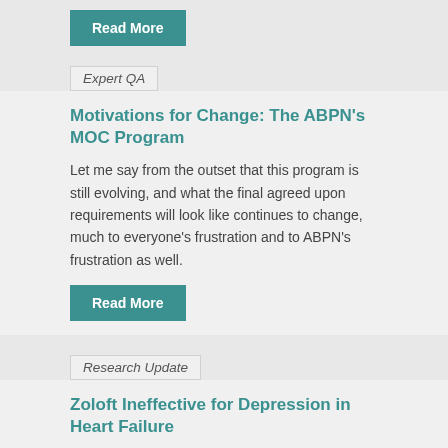[Figure (other): Read More button (teal/dark cyan rounded rectangle)]
Expert QA
Motivations for Change: The ABPN's MOC Program
Let me say from the outset that this program is still evolving, and what the final agreed upon requirements will look like continues to change, much to everyone's frustration and to ABPN's frustration as well.
[Figure (other): Read More button (teal/dark cyan rounded rectangle)]
Research Update
Zoloft Ineffective for Depression in Heart Failure
Topics: Antidepressants | Depressive Disorder
As we reviewed in the July/August 2009 issue of TCPR